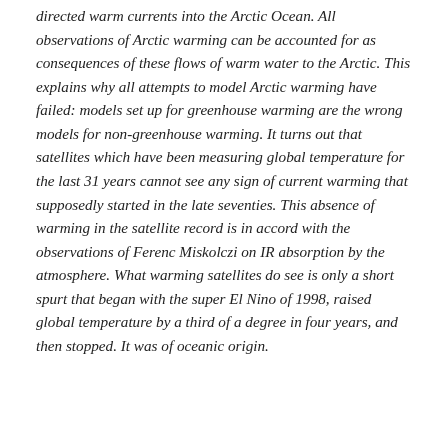directed warm currents into the Arctic Ocean. All observations of Arctic warming can be accounted for as consequences of these flows of warm water to the Arctic. This explains why all attempts to model Arctic warming have failed: models set up for greenhouse warming are the wrong models for non-greenhouse warming. It turns out that satellites which have been measuring global temperature for the last 31 years cannot see any sign of current warming that supposedly started in the late seventies. This absence of warming in the satellite record is in accord with the observations of Ferenc Miskolczi on IR absorption by the atmosphere. What warming satellites do see is only a short spurt that began with the super El Nino of 1998, raised global temperature by a third of a degree in four years, and then stopped. It was of oceanic origin.